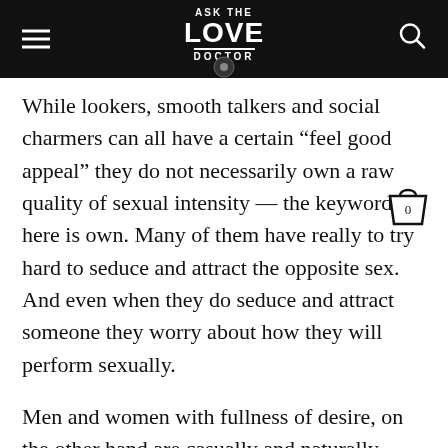ASK THE LOVE DOCTOR
While lookers, smooth talkers and social charmers can all have a certain “feel good appeal” they do not necessarily own a raw quality of sexual intensity — the keyword here is own. Many of them have really to try hard to seduce and attract the opposite sex. And even when they do seduce and attract someone they worry about how they will perform sexually.
Men and women with fullness of desire, on the other hand are casually and naturally sexy. They do not do much to try to appear sexually appealing, persuade or seduce. Their megawatt sexual